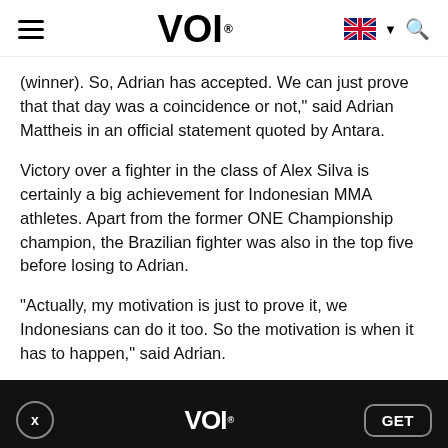VOI
(winner). So, Adrian has accepted. We can just prove that that day was a coincidence or not," said Adrian Mattheis in an official statement quoted by Antara.
Victory over a fighter in the class of Alex Silva is certainly a big achievement for Indonesian MMA athletes. Apart from the former ONE Championship champion, the Brazilian fighter was also in the top five before losing to Adrian.
“Actually, my motivation is just to prove it, we Indonesians can do it too. So the motivation is when it has to happen,” said Adrian.
SEE ALSO: